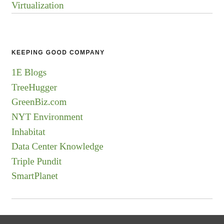Virtualization
KEEPING GOOD COMPANY
1E Blogs
TreeHugger
GreenBiz.com
NYT Environment
Inhabitat
Data Center Knowledge
Triple Pundit
SmartPlanet